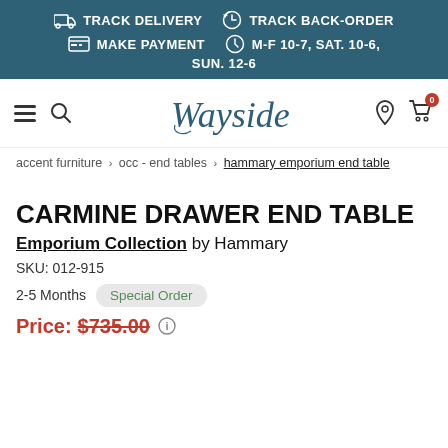TRACK DELIVERY   TRACK BACK-ORDER   MAKE PAYMENT   M-F 10-7, SAT. 10-6, SUN. 12-6
[Figure (logo): Wayside furniture store logo in cursive script]
accent furniture > occ - end tables > hammary emporium end table
CARMINE DRAWER END TABLE
Emporium Collection by Hammary
SKU: 012-915
2-5 Months   Special Order
Price: $735.00